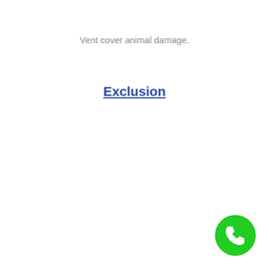Vent cover animal damage.
Exclusion
[Figure (other): Green circular phone/call button icon in bottom-right corner]